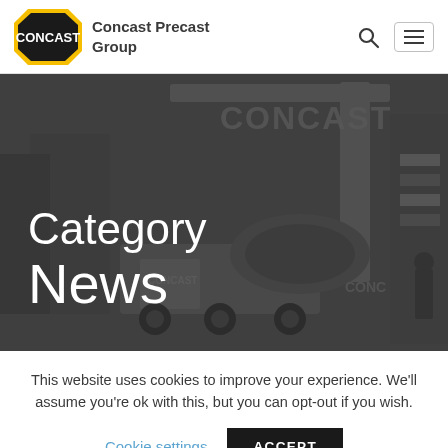Concast Precast Group
[Figure (logo): Concast logo: black octagon shape with gold border and white CONCAST text, next to company name 'Concast Precast Group']
[Figure (photo): Hero banner showing Concast branded heavy cranes and construction vehicles at a worksite, with dark overlay. Text 'Category News' overlaid in white.]
Category
News
This website uses cookies to improve your experience. We'll assume you're ok with this, but you can opt-out if you wish.
Cookie settings   ACCEPT